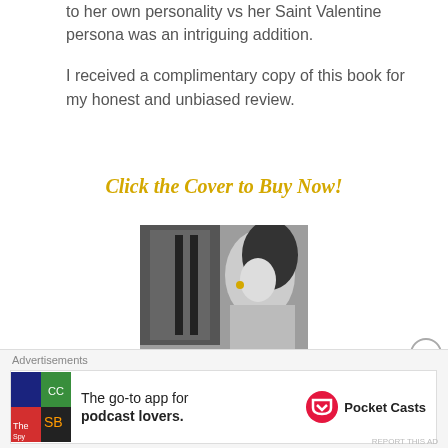to her own personality vs her Saint Valentine persona was an intriguing addition.
I received a complimentary copy of this book for my honest and unbiased review.
Click the Cover to Buy Now!
[Figure (photo): Book cover showing a black and white intimate photo of a couple with partial text 'WHAT WE DO' at the bottom]
[Figure (infographic): Advertisement for Pocket Casts app: 'The go-to app for podcast lovers.' with Pocket Casts logo]